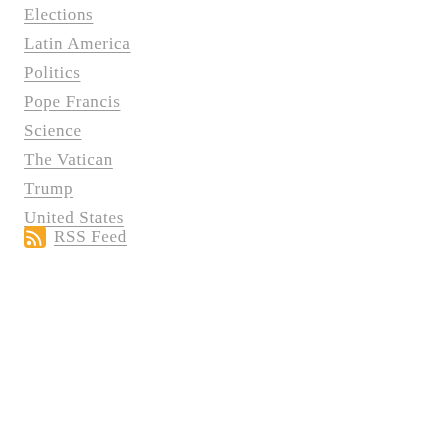Elections
Latin America
Politics
Pope Francis
Science
The Vatican
Trump
United States
RSS Feed